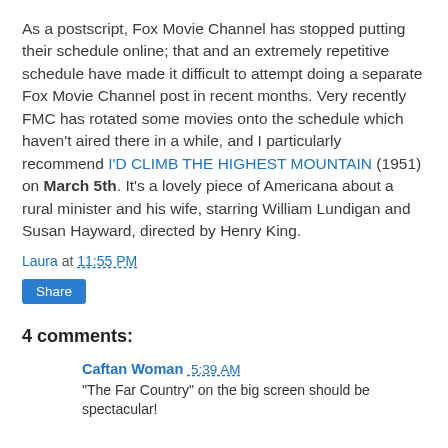As a postscript, Fox Movie Channel has stopped putting their schedule online; that and an extremely repetitive schedule have made it difficult to attempt doing a separate Fox Movie Channel post in recent months. Very recently FMC has rotated some movies onto the schedule which haven't aired there in a while, and I particularly recommend I'D CLIMB THE HIGHEST MOUNTAIN (1951) on March 5th. It's a lovely piece of Americana about a rural minister and his wife, starring William Lundigan and Susan Hayward, directed by Henry King.
Laura at 11:55 PM
Share
4 comments:
Caftan Woman 5:39 AM
"The Far Country" on the big screen should be spectacular!